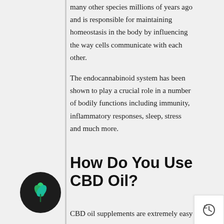many other species millions of years ago and is responsible for maintaining homeostasis in the body by influencing the way cells communicate with each other.
The endocannabinoid system has been shown to play a crucial role in a number of bodily functions including immunity, inflammatory responses, sleep, stress and much more.
How Do You Use CBD Oil?
CBD oil supplements are extremely easy to use.
If you choose to use a CBD oil, you simply place a few drops of oil under your tongue, hold for a while, then swallow.
CBD capsules are even easier to use, you simply